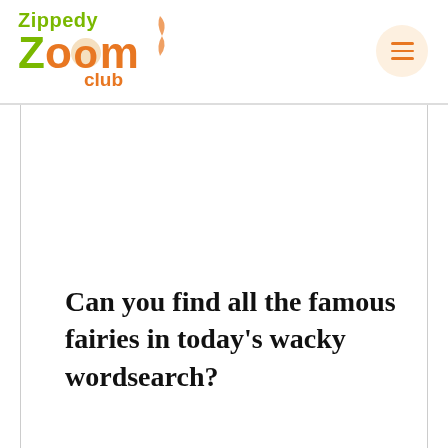Zippedy Zoom Club
Can you find all the famous fairies in today's wacky wordsearch?